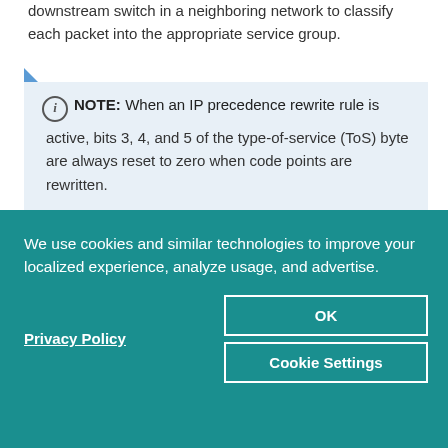downstream switch in a neighboring network to classify each packet into the appropriate service group.
NOTE: When an IP precedence rewrite rule is active, bits 3, 4, and 5 of the type-of-service (ToS) byte are always reset to zero when code points are rewritten.
Default Rewrite Rule
We use cookies and similar technologies to improve your localized experience, analyze usage, and advertise.
Privacy Policy
OK
Cookie Settings